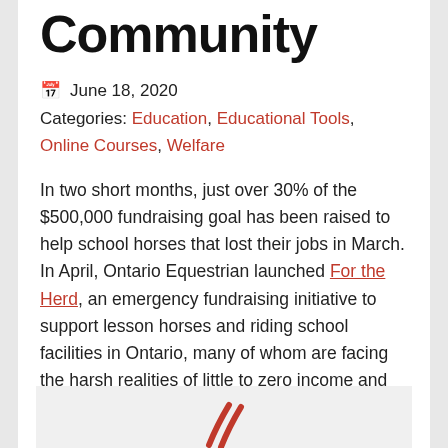Community
June 18, 2020
Categories: Education, Educational Tools, Online Courses, Welfare
In two short months, just over 30% of the $500,000 fundraising goal has been raised to help school horses that lost their jobs in March. In April, Ontario Equestrian launched For the Herd, an emergency fundraising initiative to support lesson horses and riding school facilities in Ontario, many of whom are facing the harsh realities of little to zero income and some very grim decisions.
[Figure (illustration): Partial view of a logo or illustration with red swoosh/feather marks on a light grey background, cropped at bottom of page]